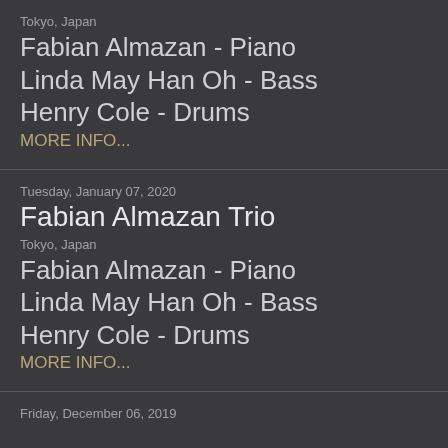Tokyo, Japan
Fabian Almazan - Piano
Linda May Han Oh - Bass
Henry Cole - Drums
MORE INFO...
Tuesday, January 07, 2020
Fabian Almazan Trio
Tokyo, Japan
Fabian Almazan - Piano
Linda May Han Oh - Bass
Henry Cole - Drums
MORE INFO...
Friday, December 06, 2019